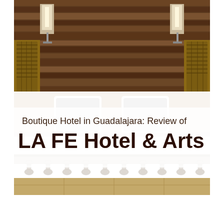[Figure (photo): Hotel bedroom photo showing a bed with white bedding and decorative white fringe/tassel trim along the base, white pillows, a wooden plank headboard wall, and two wall-mounted sconce lamps on either side. The bed frame area features woven rattan or bamboo material. The floor appears to be tiled.]
Boutique Hotel in Guadalajara: Review of LA FE Hotel & Arts